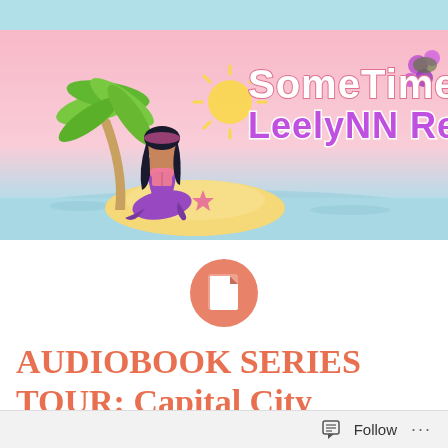[Figure (illustration): Blog banner for 'Sometimes LeeLynn Reads' featuring a mermaid sitting on a tropical island with a palm tree, reading a book, with the blog name in stylized text]
[Figure (logo): Orange/salmon rounded document icon]
AUDIOBOOK SERIES TOUR: Capital City Murders – Overdoses in Olympia by Troy Lambert